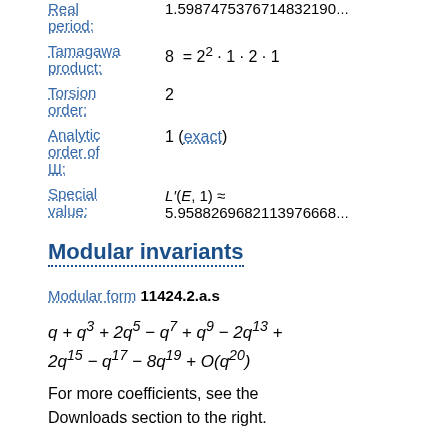Real period: 1.5987475376714832190...
Tamagawa product: 8 = 2^2 · 1 · 2 · 1
Torsion order: 2
Analytic order of Ш: 1 (exact)
Special value: L'(E,1) ≈ 5.9588269682113976668...
Modular invariants
Modular form 11424.2.a.s
For more coefficients, see the Downloads section to the right.